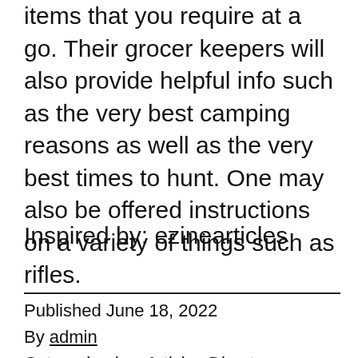items that you require at a go. Their grocer keepers will also provide helpful info such as the very best camping reasons as well as the very best times to hunt. One may also be offered instructions on a variety of things such as rifles.
Inspired by: ezinearticles
Published June 18, 2022
By admin
Categorized as Articles Directory